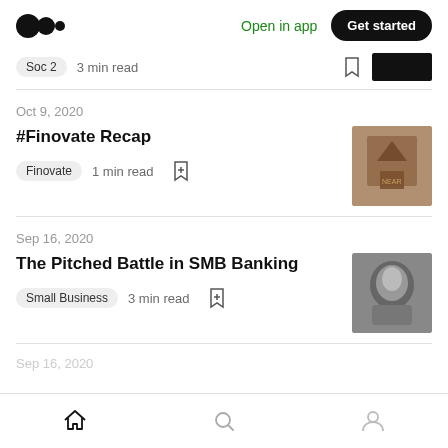Medium — Open in app | Get started
Soc 2   3 min read
Oct 9, 2020
#Finovate Recap
Finovate   1 min read
Sep 16, 2020
The Pitched Battle in SMB Banking
Small Business   3 min read
Sep 16, 2020
Home | Search | Profile